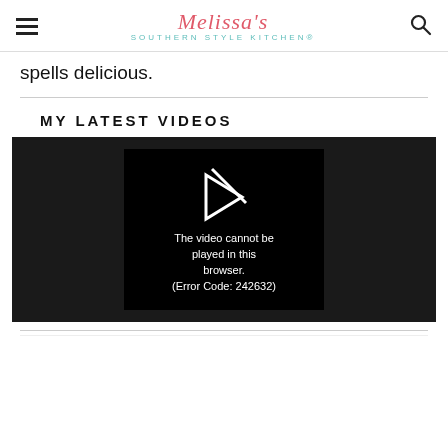Melissa's Southern Style Kitchen®
spells delicious.
MY LATEST VIDEOS
[Figure (screenshot): Video player showing error message: The video cannot be played in this browser. (Error Code: 242632)]